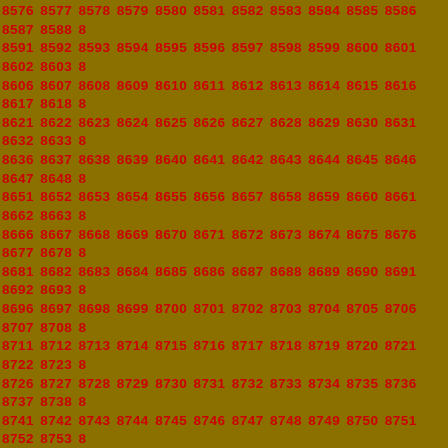8576 8577 8578 8579 8580 8581 8582 8583 8584 8585 8586 8587 8588 8589 8590 8591 8592 8593 8594 8595 8596 8597 8598 8599 8600 8601 8602 8603 8604 8605 8606 8607 8608 8609 8610 8611 8612 8613 8614 8615 8616 8617 8618 8619 8620 8621 8622 8623 8624 8625 8626 8627 8628 8629 8630 8631 8632 8633 8634 8635 8636 8637 8638 8639 8640 8641 8642 8643 8644 8645 8646 8647 8648 8649 8650 8651 8652 8653 8654 8655 8656 8657 8658 8659 8660 8661 8662 8663 8664 8665 8666 8667 8668 8669 8670 8671 8672 8673 8674 8675 8676 8677 8678 8679 8680 8681 8682 8683 8684 8685 8686 8687 8688 8689 8690 8691 8692 8693 8694 8695 8696 8697 8698 8699 8700 8701 8702 8703 8704 8705 8706 8707 8708 8709 8710 8711 8712 8713 8714 8715 8716 8717 8718 8719 8720 8721 8722 8723 8724 8725 8726 8727 8728 8729 8730 8731 8732 8733 8734 8735 8736 8737 8738 8739 8740 8741 8742 8743 8744 8745 8746 8747 8748 8749 8750 8751 8752 8753 8754 8755 8756 8757 8758 8759 8760 8761 8762 8763 8764 8765 8766 8767 8768 8769 8770 8771 8772 8773 8774 8775 8776 8777 8778 8779 8780 8781 8782 8783 8784 8785 8786 8787 8788 8789 8790 8791 8792 8793 8794 8795 8796 8797 8798 8799 8800 8801 8802 8803 8804 8805 8806 8807 8808 8809 8810 8811 8812 8813 8814 8815 8816 8817 8818 8819 8820 8821 8822 8823 8824 8825 8826 8827 8828 8829 8830 8831 8832 8833 8834 8835 8836 8837 8838 8839 8840 8841 8842 8843 8844 8845 8846 8847 8848 8849 8850 8851 8852 8853 8854 8855 8856 8857 8858 8859 8860 8861 8862 8863 8864 8865 8866 8867 8868 8869 8870 8871 8872 8873 8874 8875 8876 8877 8878 8879 8880 8881 8882 8883 8884 8885 8886 8887 8888 8889 8890 8891 8892 8893 8894 8895 8896 8897 8898 8899 8900 8901 8902 8903 8904 8905